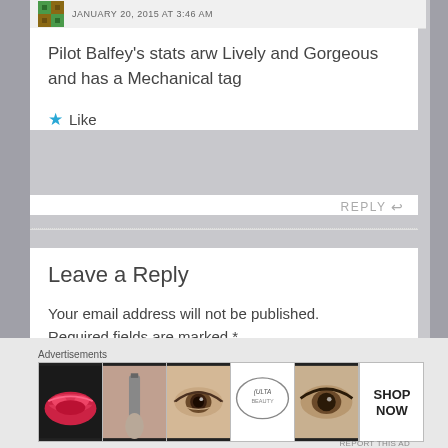JANUARY 20, 2015 AT 3:46 AM
Pilot Balfey's stats arw Lively and Gorgeous and has a Mechanical tag
★ Like
REPLY ↩
Leave a Reply
Your email address will not be published. Required fields are marked *
Advertisements
[Figure (photo): Advertisements banner showing beauty product images: lips with makeup, makeup brush, eye close-up, ULTA Beauty logo, eye with makeup, and SHOP NOW text panel]